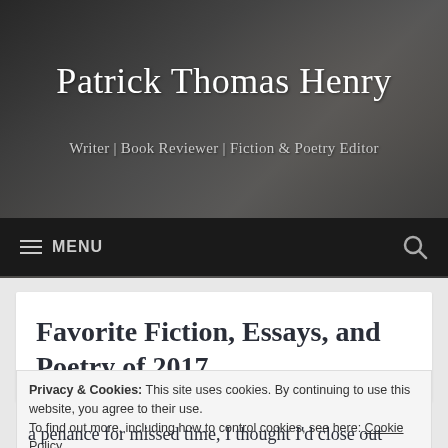Patrick Thomas Henry
Writer | Book Reviewer | Fiction & Poetry Editor
MENU
Favorite Fiction, Essays, and Poetry of 2017
Privacy & Cookies: This site uses cookies. By continuing to use this website, you agree to their use.
To find out more, including how to control cookies, see here: Cookie Policy
Close and accept
a penance for missed time, I thought I'd close out